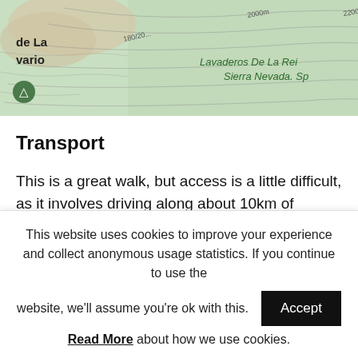[Figure (map): Topographic map showing contour lines, green shaded terrain, elevation markers (2000m, 2600m), and text labels 'de La', 'vario', 'Lavaderos De La Rei', 'Sierra Nevada. Sp' with a walking trail marker icon.]
Transport
This is a great walk, but access is a little difficult, as it involves driving along about 10km of unsurfaced, bumpy mountain roads. It is perfectly possible to get there in a normal car,
This website uses cookies to improve your experience and collect anonymous usage statistics. If you continue to use the website, we'll assume you're ok with this.
Read More about how we use cookies.